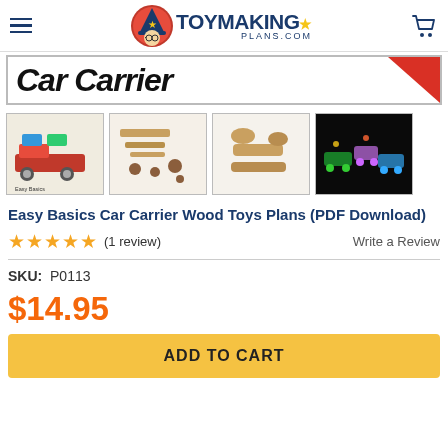ToyMakingPlans.com header with logo, hamburger menu, and cart icon
[Figure (screenshot): Banner image showing 'Car Carrier' text in bold italic with a red triangle in the top-right corner]
[Figure (photo): Four product thumbnails: (1) Easy Basics Car Carrier assembled toy, (2) wooden parts laid out, (3) wooden car parts disassembled, (4) glowing toy cars on black background]
Easy Basics Car Carrier Wood Toys Plans (PDF Download)
★★★★★ (1 review)   Write a Review
SKU: P0113
$14.95
ADD TO CART